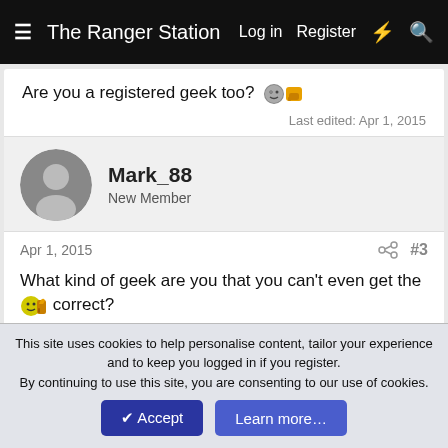The Ranger Station  Log in  Register
Are you a registered geek too? [emoji]
Last edited: Apr 1, 2015
Mark_88
New Member
Apr 1, 2015  #3
What kind of geek are you that you can't even get the [emoji] correct?

[emoji]  That one uses colon icon underscore thumby colon...

I started just typing the ones I use often because looking
This site uses cookies to help personalise content, tailor your experience and to keep you logged in if you register.
By continuing to use this site, you are consenting to our use of cookies.